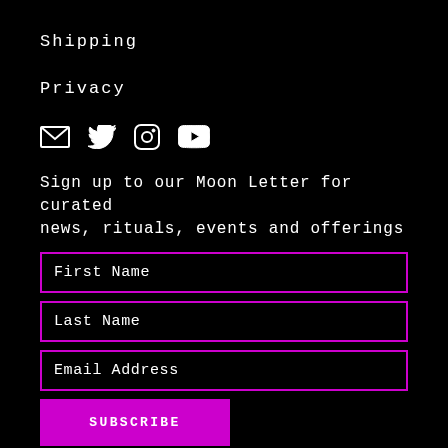Shipping
Privacy
[Figure (infographic): Social media icons: email envelope, Twitter bird, Instagram camera, YouTube play button — all white on black background]
Sign up to our Moon Letter for curated news, rituals, events and offerings
First Name
Last Name
Email Address
SUBSCRIBE